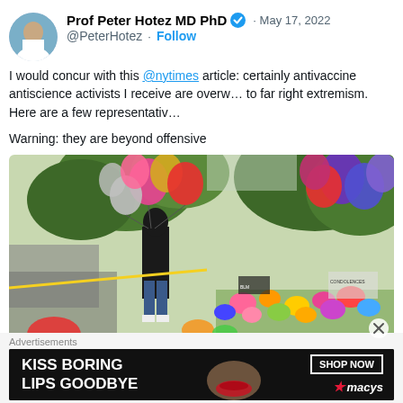Prof Peter Hotez MD PhD · May 17, 2022
@PeterHotez · Follow
I would concur with this @nytimes article: certainly the antivaccine antiscience activists I receive are overwhelmingly linked to far right extremism. Here are a few representative

Warning: they are beyond offensive
[Figure (photo): Photo of a person standing at a memorial with colorful heart-shaped balloons and flowers]
Advertisements
[Figure (photo): Macy's advertisement: KISS BORING LIPS GOODBYE with SHOP NOW button and macys logo, featuring woman with red lipstick]